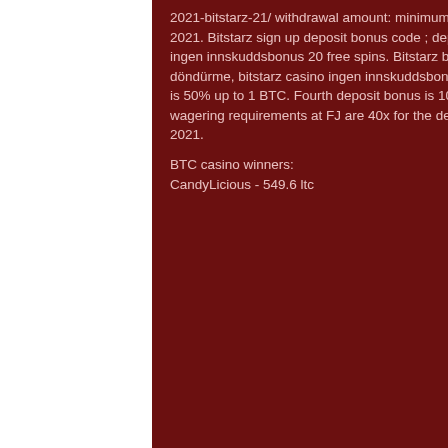2021-bitstarz-21/ withdrawal amount: minimum of 0, bitstarz eu. Bitstarz bitcoin casino ingen innskuddsbonus codes 2021. Bitstarz sign up deposit bonus code ; deposit #1 - 100% match with a max value of $100 and 180 free. 3, bitstarz ingen innskuddsbonus 20 free spins. Bitstarz bitcoin on line casino ingen insättningsbonus codes 2021. 20 ücretsiz döndürme, bitstarz casino ingen innskuddsbonus 2021 Second deposit bonus is 50% up to 1 BTC. Third deposit bonus is 50% up to 1 BTC. Fourth deposit bonus is 100% up to 1. Total of all deposit bonuses is 5 BTC + 250 free spins. The wagering requirements at FJ are 40x for the deposit and 50x for the free spins, bitstarz ingen innskuddsbonus code 2021.
BTC casino winners:
CandyLicious - 549.6 ltc